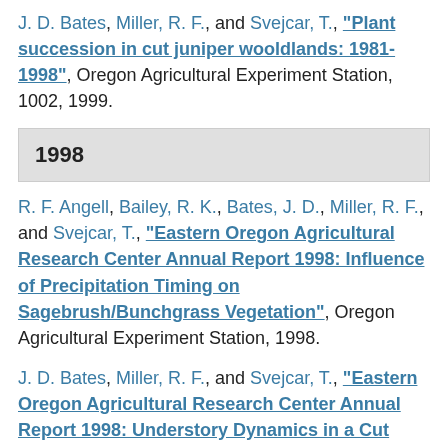J. D. Bates, Miller, R. F., and Svejcar, T., "Plant succession in cut juniper wooldlands: 1981-1998", Oregon Agricultural Experiment Station, 1002, 1999.
1998
R. F. Angell, Bailey, R. K., Bates, J. D., Miller, R. F., and Svejcar, T., "Eastern Oregon Agricultural Research Center Annual Report 1998: Influence of Precipitation Timing on Sagebrush/Bunchgrass Vegetation", Oregon Agricultural Experiment Station, 1998.
J. D. Bates, Miller, R. F., and Svejcar, T., "Eastern Oregon Agricultural Research Center Annual Report 1998: Understory Dynamics in a Cut...